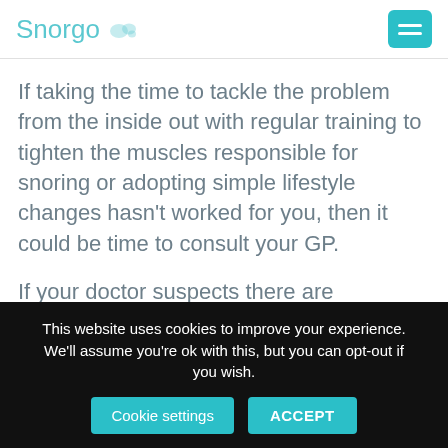Snorgo
If taking the time to tackle the problem from the inside out with regular training to tighten the muscles responsible for snoring or adopting simple lifestyle changes hasn't worked for you, then it could be time to consult your GP.
If your doctor suspects there are underlying anatomical reasons for your snoring such as narrower airways, large adenoids or a nasal obstruction, they may
This website uses cookies to improve your experience. We'll assume you're ok with this, but you can opt-out if you wish.
Cookie settings   ACCEPT